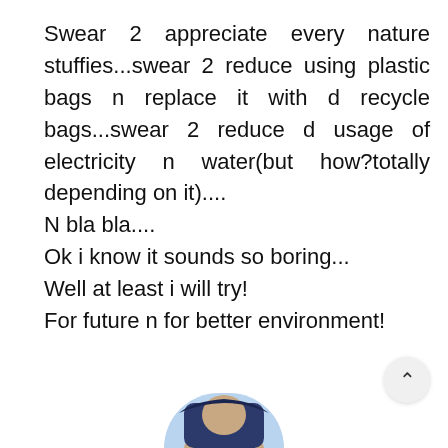Swear 2 appreciate every nature stuffies...swear 2 reduce using plastic bags n replace it with d recycle bags...swear 2 reduce d usage of electricity n water(but how?totally depending on it)....
N bla bla....
Ok i know it sounds so boring...
Well at least i will try!
For future n for better environment!
VIEW the POST
0 comments
NEW ENTRIES
OLD ENTRIES
[Figure (photo): Partial profile photo of a woman wearing a hijab, circular cropped at bottom of page]